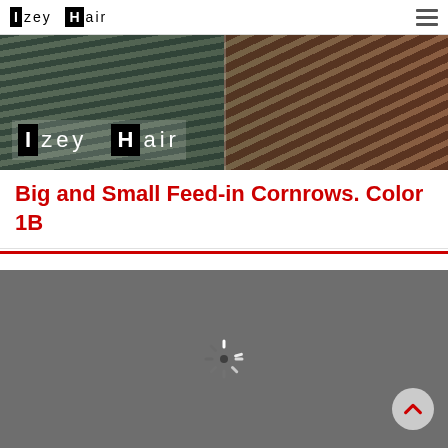Izey Hair
[Figure (photo): Banner image showing close-up of braided cornrow hairstyles in two panels, with Izey Hair logo overlaid at bottom left]
Big and Small Feed-in Cornrows. Color 1B
[Figure (screenshot): Dark gray video player area with a loading spinner in the center and a back-to-top arrow button at bottom right]